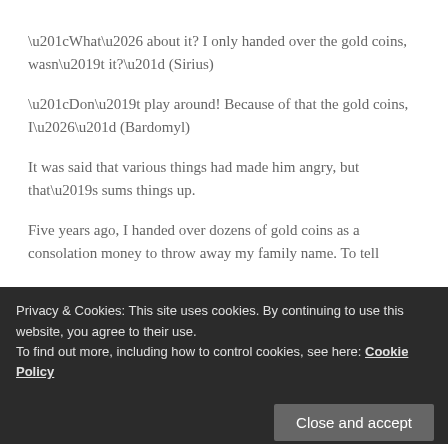“What… about it? I only handed over the gold coins, wasn’t it?” (Sirius)
“Don’t play around! Because of that the gold coins, I…” (Bardomyl)
It was said that various things had made him angry, but that’s sums things up.
Five years ago, I handed over dozens of gold coins as a consolation money to throw away my family name. To tell
Privacy & Cookies: This site uses cookies. By continuing to use this website, you agree to their use.
To find out more, including how to control cookies, see here: Cookie Policy
it seemed that gold coins were scattered around with